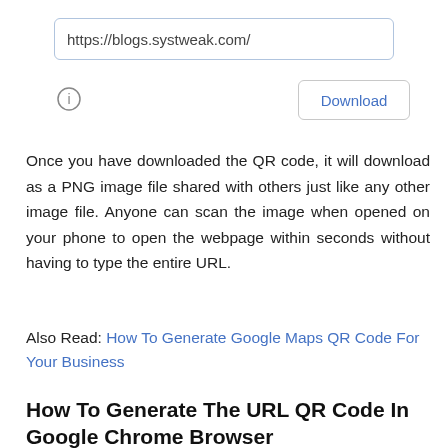[Figure (screenshot): Browser URL bar showing https://blogs.systweak.com/]
[Figure (screenshot): Info icon (circle with i) and a Download button with border]
Once you have downloaded the QR code, it will download as a PNG image file shared with others just like any other image file. Anyone can scan the image when opened on your phone to open the webpage within seconds without having to type the entire URL.
Also Read: How To Generate Google Maps QR Code For Your Business
How To Generate The URL QR Code In Google Chrome Browser